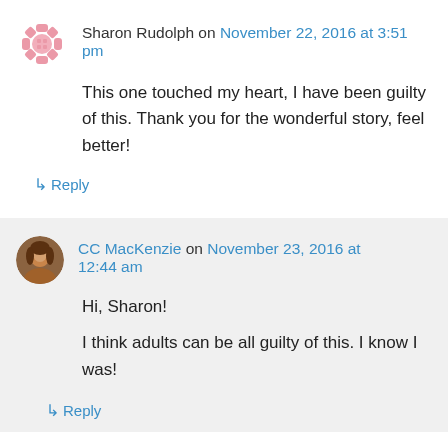Sharon Rudolph on November 22, 2016 at 3:51 pm
This one touched my heart, I have been guilty of this. Thank you for the wonderful story, feel better!
↳ Reply
CC MacKenzie on November 23, 2016 at 12:44 am
Hi, Sharon!

I think adults can be all guilty of this. I know I was!
↳ Reply